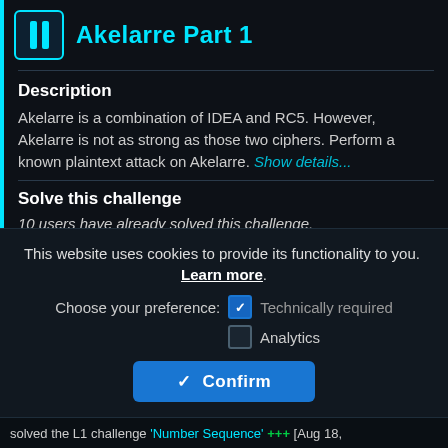Akelarre Part 1
Description
Akelarre is a combination of IDEA and RC5. However, Akelarre is not as strong as those two ciphers. Perform a known plaintext attack on Akelarre. Show details...
Solve this challenge
10 users have already solved this challenge.
This website uses cookies to provide its functionality to you. Learn more.
Choose your preference:  Technically required
Analytics
Confirm
solved the L1 challenge 'Number Sequence' +++ [Aug 18,